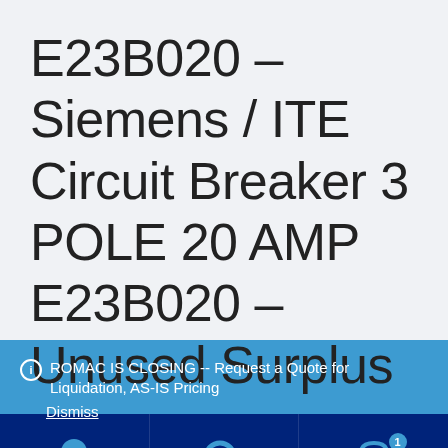E23B020 – Siemens / ITE Circuit Breaker 3 POLE 20 AMP E23B020 – Unused Surplus
ROMAC IS CLOSING -- Request a Quote for Liquidation, AS-IS Pricing
Dismiss
[Figure (other): Bottom navigation bar with three icons: user/account icon, search icon, and shopping cart icon with badge showing 1 item]